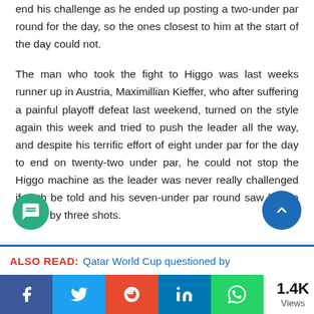end his challenge as he ended up posting a two-under par round for the day, so the ones closest to him at the start of the day could not.
The man who took the fight to Higgo was last weeks runner up in Austria, Maximillian Kieffer, who after suffering a painful playoff defeat last weekend, turned on the style again this week and tried to push the leader all the way, and despite his terrific effort of eight under par for the day to end on twenty-two under par, he could not stop the Higgo machine as the leader was never really challenged if truth be told and his seven-under par round saw him to victory by three shots.
ALSO READ:  Qatar World Cup questioned by
1.4K Views